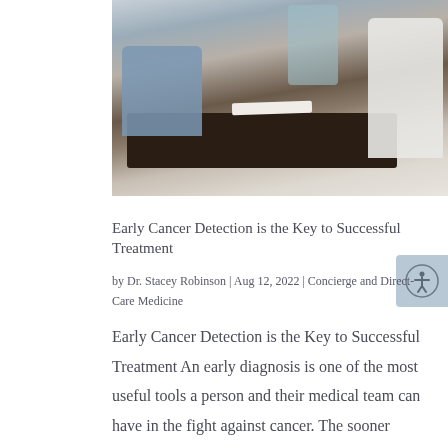[Figure (photo): Photo of people seated around a dark conference table in a medical consultation setting; a person in a white coat is visible on the right side.]
Early Cancer Detection is the Key to Successful Treatment
by Dr. Stacey Robinson | Aug 12, 2022 | Concierge and Direct-Care Medicine
Early Cancer Detection is the Key to Successful Treatment An early diagnosis is one of the most useful tools a person and their medical team can have in the fight against cancer. The sooner cancer is detected, the more options are available to mitigate its harm,...